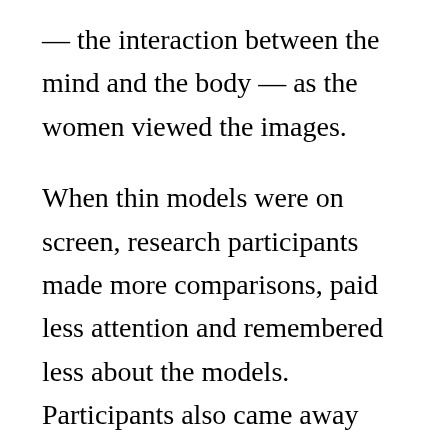— the interaction between the mind and the body — as the women viewed the images.
When thin models were on screen, research participants made more comparisons, paid less attention and remembered less about the models. Participants also came away from the experiment with less body satisfaction, which can diminish psychological health.
But when average and plus-size models were on screen, research participants made fewer